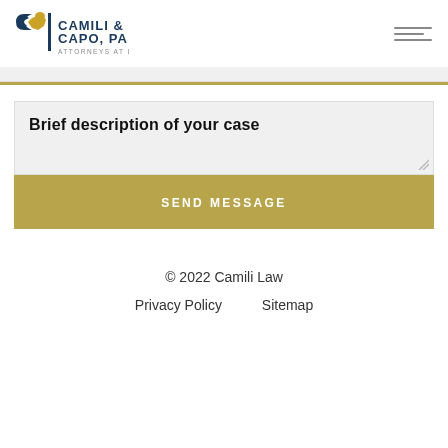Camili & Capo, PA — Attorneys at Law
Brief description of your case
SEND MESSAGE
© 2022 Camili Law  Privacy Policy  Sitemap